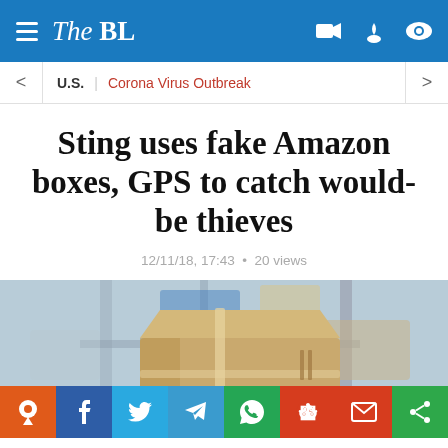The BL
U.S. | Corona Virus Outbreak
Sting uses fake Amazon boxes, GPS to catch would-be thieves
12/11/18, 17:43  •  20 views
[Figure (photo): Cardboard Amazon-style shipping box on a warehouse conveyor/shelf rack, with social share buttons overlaid at the bottom.]